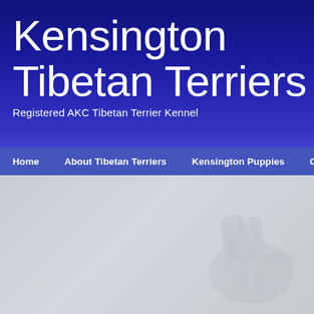Kensington Tibetan Terriers
Registered AKC Tibetan Terrier Kennel
Home | About Tibetan Terriers | Kensington Puppies | Our Gues...
[Figure (photo): Faded background image of a Tibetan Terrier dog on a grey background]